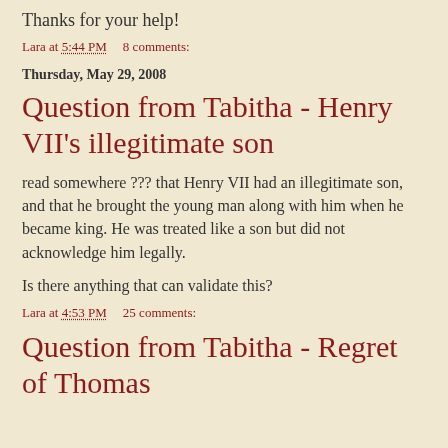Thanks for your help!
Lara at 5:44 PM    8 comments:
Thursday, May 29, 2008
Question from Tabitha - Henry VII's illegitimate son
read somewhere ??? that Henry VII had an illegitimate son, and that he brought the young man along with him when he became king. He was treated like a son but did not acknowledge him legally.
Is there anything that can validate this?
Lara at 4:53 PM    25 comments:
Question from Tabitha - Regret of Thomas